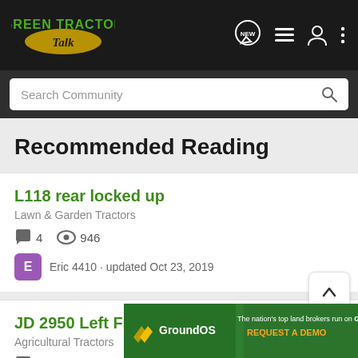[Figure (logo): Green Tractor Talk logo — green and yellow text on dark background, with navigation icons (NEW chat bubble, list, person, more)]
Search Community
Recommended Reading
L118 rear locked up
Lawn & Garden Tractors
4  946
Eric 4410 · updated Oct 23, 2019
JD 2950 Left Front Wheel Problem
Agricultural Tractors
8
[Figure (illustration): GroundOS advertisement banner: 'The nation's top land brokers run on GroundOS. REQUEST A DEMO']